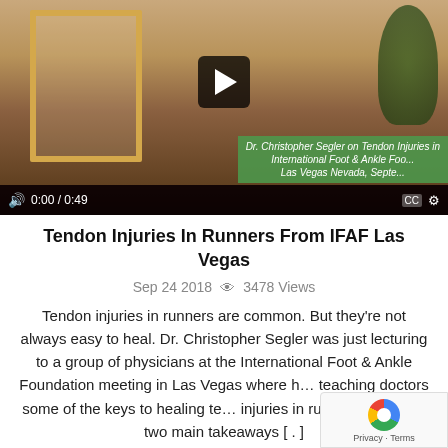[Figure (screenshot): Video thumbnail of Dr. Christopher Segler in a suit speaking at IFAF Las Vegas. Video player controls show 0:00 / 0:49. Green overlay text reads: Dr. Christopher Segler on Tendon Injuries in International Foot & Ankle Foo... Las Vegas Nevada, Septe...]
Tendon Injuries In Runners From IFAF Las Vegas
Sep 24 2018  👁 3478 Views
Tendon injuries in runners are common. But they're not always easy to heal. Dr. Christopher Segler was just lecturing to a group of physicians at the International Foot & Ankle Foundation meeting in Las Vegas where h... teaching doctors some of the keys to healing te... injuries in runners. Here are two main takeaways [.]